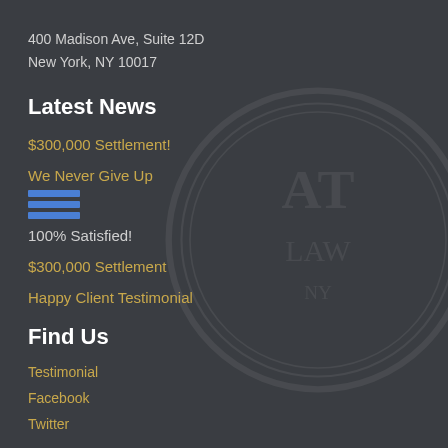400 Madison Ave, Suite 12D
New York, NY 10017
Latest News
$300,000 Settlement!
We Never Give Up
[Figure (other): Blue hamburger/menu icon with three horizontal bars]
100% Satisfied!
$300,000 Settlement
Happy Client Testimonial
Find Us
Testimonial
Facebook
Twitter